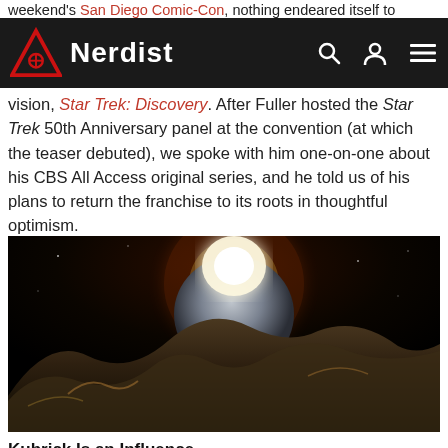weekend's San Diego Comic-Con, nothing endeared itself to
Nerdist
vision, Star Trek: Discovery. After Fuller hosted the Star Trek 50th Anniversary panel at the convention (at which the teaser debuted), we spoke with him one-on-one about his CBS All Access original series, and he told us of his plans to return the franchise to its roots in thoughtful optimism.
[Figure (photo): A dramatic science fiction image showing a rocky alien landscape in the foreground with a large glowing planet or moon rising behind it against a black space background, likely from Star Trek: Discovery teaser.]
Kubrick Is an Influence
With Discovery, Bryan Fuller is letting his love of Stanley Kubrick show. Big time. The series' teaser trailer opens with